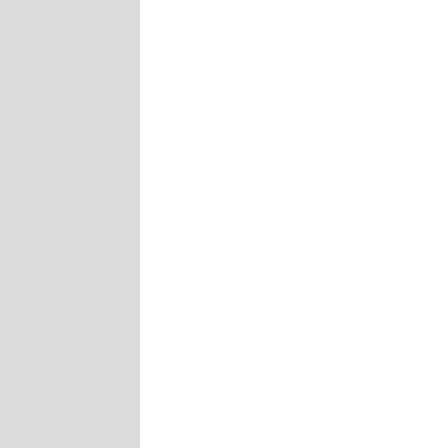U.S. while Black-on-Black slavery continues in Africa today (Forced labor in Sub-Saharan Africa alone is estimated at 660,000—both facts which many U.S. Blacks seem